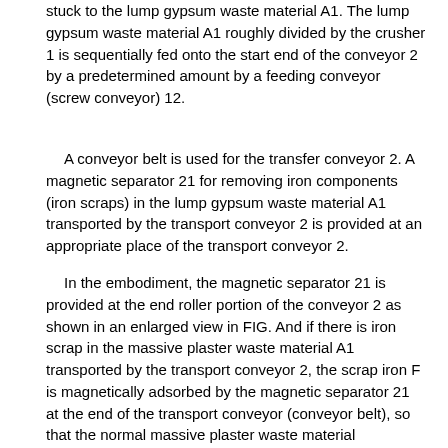stuck to the lump gypsum waste material A1. The lump gypsum waste material A1 roughly divided by the crusher 1 is sequentially fed onto the start end of the conveyor 2 by a predetermined amount by a feeding conveyor (screw conveyor) 12.
A conveyor belt is used for the transfer conveyor 2. A magnetic separator 21 for removing iron components (iron scraps) in the lump gypsum waste material A1 transported by the transport conveyor 2 is provided at an appropriate place of the transport conveyor 2.
In the embodiment, the magnetic separator 21 is provided at the end roller portion of the conveyor 2 as shown in an enlarged view in FIG. And if there is iron scrap in the massive plaster waste material A1 transported by the transport conveyor 2, the scrap iron F is magnetically adsorbed by the magnetic separator 21 at the end of the transport conveyor (conveyor belt), so that the normal massive plaster waste material Separated from A1. Then, the iron scrap F separated from the normal lump gypsum waste A1 is stored in the iron scrap container 23 through the iron scrap passage 22. The magnetic separator 21 may